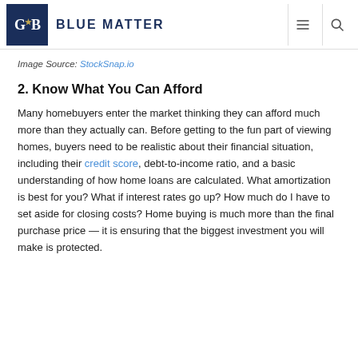BLUE MATTER
Image Source: StockSnap.io
2. Know What You Can Afford
Many homebuyers enter the market thinking they can afford much more than they actually can. Before getting to the fun part of viewing homes, buyers need to be realistic about their financial situation, including their credit score, debt-to-income ratio, and a basic understanding of how home loans are calculated. What amortization is best for you? What if interest rates go up? How much do I have to set aside for closing costs? Home buying is much more than the final purchase price — it is ensuring that the biggest investment you will make is protected.